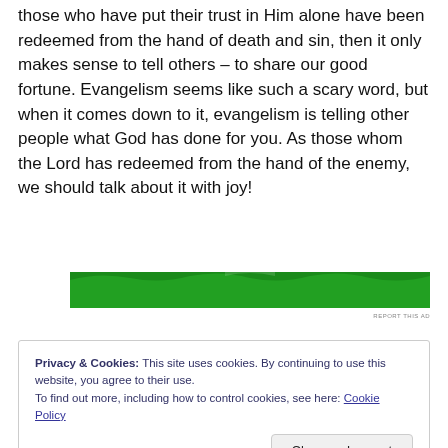those who have put their trust in Him alone have been redeemed from the hand of death and sin, then it only makes sense to tell others – to share our good fortune. Evangelism seems like such a scary word, but when it comes down to it, evangelism is telling other people what God has done for you. As those whom the Lord has redeemed from the hand of the enemy, we should talk about it with joy!
[Figure (other): Green advertisement banner]
REPORT THIS AD
Privacy & Cookies: This site uses cookies. By continuing to use this website, you agree to their use. To find out more, including how to control cookies, see here: Cookie Policy